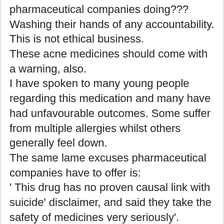pharmaceutical companies doing??? Washing their hands of any accountability.
This is not ethical business.
These acne medicines should come with a warning, also.
I have spoken to many young people regarding this medication and many have had unfavourable outcomes. Some suffer from multiple allergies whilst others generally feel down.
The same lame excuses pharmaceutical companies have to offer is:
' This drug has no proven causal link with suicide' disclaimer, and said they take the safety of medicines very seriously'.
If this is the case, MHRA/FDA and whoever else is involved, have failed their duty of care.
They are putting profits before people and I am certain that it will come back to bite them in the